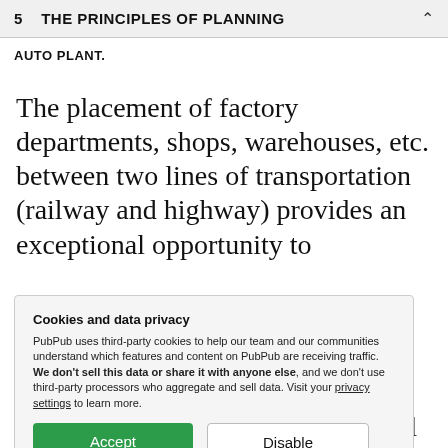5    THE PRINCIPLES OF PLANNING
AUTO PLANT.
The placement of factory departments, shops, warehouses, etc. between two lines of transportation (railway and highway) provides an exceptional opportunity to
Cookies and data privacy

PubPub uses third-party cookies to help our team and our communities understand which features and content on PubPub are receiving traffic. We don't sell this data or share it with anyone else, and we don't use third-party processors who aggregate and sell data. Visit your privacy settings to learn more.
i front of the inter ment for d will